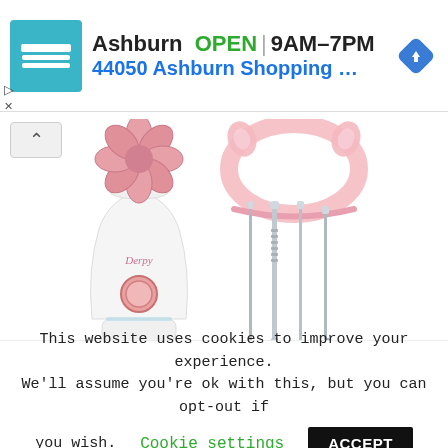[Figure (screenshot): Ad banner showing store location: Ashburn OPEN 9AM-7PM, 44050 Ashburn Shopping P... with teal store icon and blue diamond navigation icon]
[Figure (photo): Product photo of a Derpy brand facial steamer (white with rose gold flower top), pink cat-ear headband, and four stainless steel blackhead extraction tools on white background]
This website uses cookies to improve your experience. We'll assume you're ok with this, but you can opt-out if you wish. Cookie settings ACCEPT